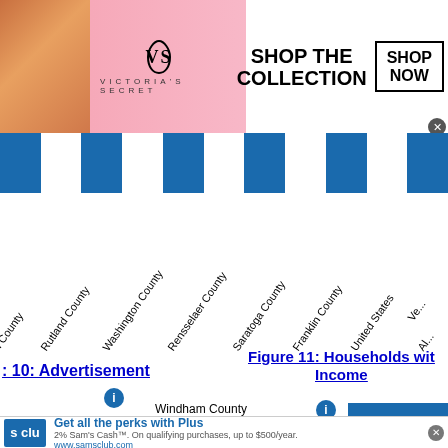[Figure (photo): Victoria's Secret advertisement banner with model, VS logo, and Shop The Collection / Shop Now text]
[Figure (infographic): Blue and white vertical striped bar divider]
[Figure (bar-chart): Partial bar chart showing rotated county labels: h County, Rutland County, Washington County, Rensselaer County, Saratoga County, Franklin County, United States, Ve..., Al... and Windham County with a blue bar]
10: Advertisement
Figure 11: Households wit... Income
[Figure (photo): Sam's Club advertisement: Get all the perks with Plus. 2% Sam's Cash. On qualifying purchases, up to $500/year. www.samsclub.com]